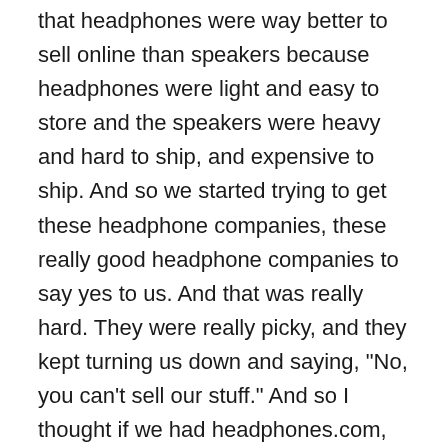that headphones were way better to sell online than speakers because headphones were light and easy to store and the speakers were heavy and hard to ship, and expensive to ship. And so we started trying to get these headphone companies, these really good headphone companies to say yes to us. And that was really hard. They were really picky, and they kept turning us down and saying, "No, you can't sell our stuff." And so I thought if we had headphones.com, they wouldn't be able to say no to us. There's no way. And so I went to the domain and it wasn't being used.
Andrew: And so I looked up the who is on the